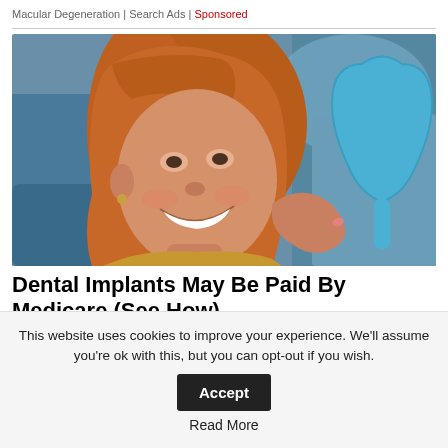Macular Degeneration | Search Ads | Sponsored
[Figure (photo): A smiling woman with red hair sitting in a dental chair, holding a blue tooth-shaped mirror, in a dental office setting.]
Dental Implants May Be Paid By Medicare (See How)
Dental Implants | Search Ads | Sponsored
This website uses cookies to improve your experience. We'll assume you're ok with this, but you can opt-out if you wish. Accept Read More